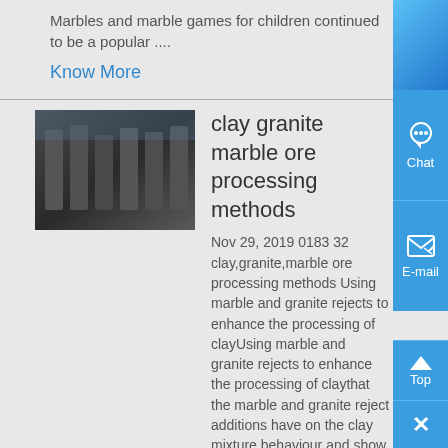Marbles and marble games for children continued to be a popular ....
Know More
[Figure (photo): Industrial facility interior with machinery]
clay granite marble ore processing methods
Nov 29, 2019 0183 32 clay,granite,marble ore processing methods Using marble and granite rejects to enhance the processing of clayUsing marble and granite rejects to enhance the processing of claythat the marble and granite reject additions have on the clay mixture behaviour and show how the properties of the sintered red-clay productsmethod, as specified by the ISO 10545-3 ,...
Know More